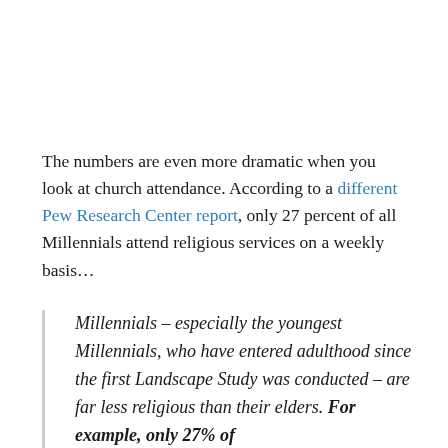The numbers are even more dramatic when you look at church attendance. According to a different Pew Research Center report, only 27 percent of all Millennials attend religious services on a weekly basis…
Millennials – especially the youngest Millennials, who have entered adulthood since the first Landscape Study was conducted – are far less religious than their elders. For example, only 27% of